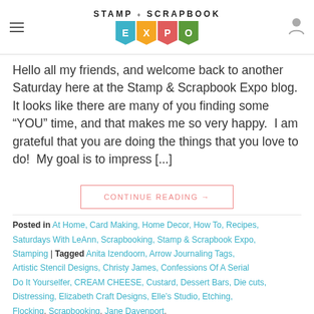STAMP AND SCRAPBOOK EXPO
Hello all my friends, and welcome back to another Saturday here at the Stamp & Scrapbook Expo blog.  It looks like there are many of you finding some “YOU” time, and that makes me so very happy.  I am grateful that you are doing the things that you love to do!  My goal is to impress [...]
CONTINUE READING →
Posted in At Home, Card Making, Home Decor, How To, Recipes, Saturdays With LeAnn, Scrapbooking, Stamp & Scrapbook Expo, Stamping | Tagged Anita Izendoorn, Arrow Journaling Tags, Artistic Stencil Designs, Christy James, Confessions Of A Serial Do It Yourselfer, CREAM CHEESE, Custard, Dessert Bars, Die cuts, Distressing, Elizabeth Craft Designs, Elle's Studio, Etching, Flocking, Scrapbooking, Jane Davenport...